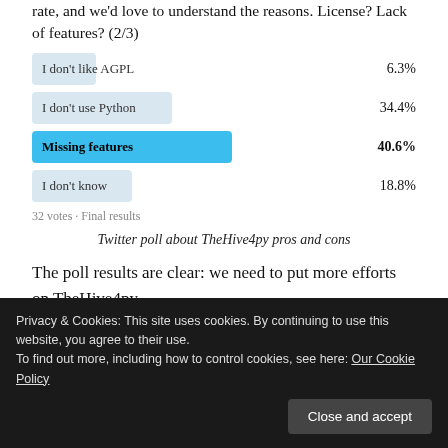rate, and we'd love to understand the reasons. License? Lack of features? (2/3)
[Figure (infographic): Twitter poll with 4 options: 'I don't like AGPL' 6.3%, 'I don't use Python' 34.4%, 'Missing features' 40.6% (highlighted in blue, selected), 'I don't know' 18.8%. 32 votes · Final results.]
Twitter poll about TheHive4py pros and cons
The poll results are clear: we need to put more efforts on TheHive4py.
Here we go, firstly, let's release
Privacy & Cookies: This site uses cookies. By continuing to use this website, you agree to their use.
To find out more, including how to control cookies, see here: Our Cookie Policy
Close and accept